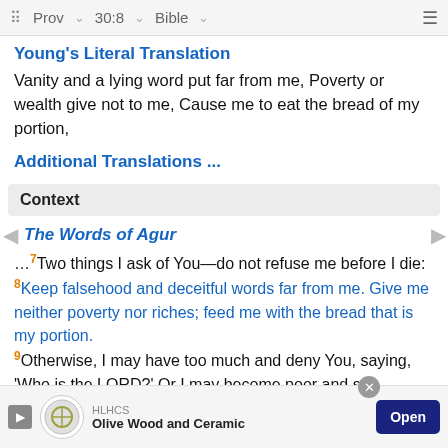Prov 30:8 Bible
Young's Literal Translation
Vanity and a lying word put far from me, Poverty or wealth give not to me, Cause me to eat the bread of my portion,
Additional Translations ...
Context
The Words of Agur
…7Two things I ask of You—do not refuse me before I die: 8Keep falsehood and deceitful words far from me. Give me neither poverty nor riches; feed me with the bread that is my portion. 9Otherwise, I may have too much and deny You, saying, 'Who is the LORD?' Or I may become poor and s…
HLHCS Olive Wood and Ceramic Open